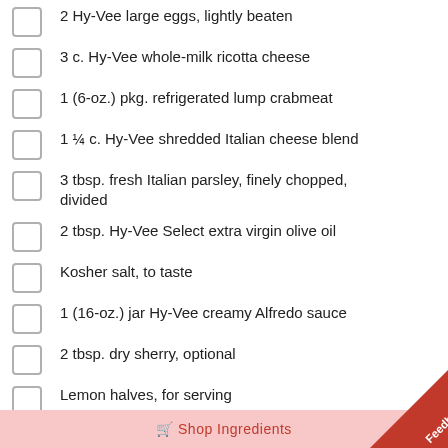2 Hy-Vee large eggs, lightly beaten
3 c. Hy-Vee whole-milk ricotta cheese
1 (6-oz.) pkg. refrigerated lump crabmeat
1 ¼ c. Hy-Vee shredded Italian cheese blend
3 tbsp. fresh Italian parsley, finely chopped, divided
2 tbsp. Hy-Vee Select extra virgin olive oil
Kosher salt, to taste
1 (16-oz.) jar Hy-Vee creamy Alfredo sauce
2 tbsp. dry sherry, optional
Lemon halves, for serving
Shop Ingredients